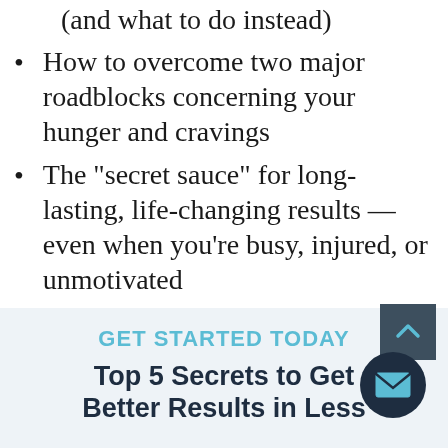(and what to do instead)
How to overcome two major roadblocks concerning your hunger and cravings
The "secret sauce" for long-lasting, life-changing results — even when you're busy, injured, or unmotivated
GET STARTED TODAY
Top 5 Secrets to Get Better Results in Less